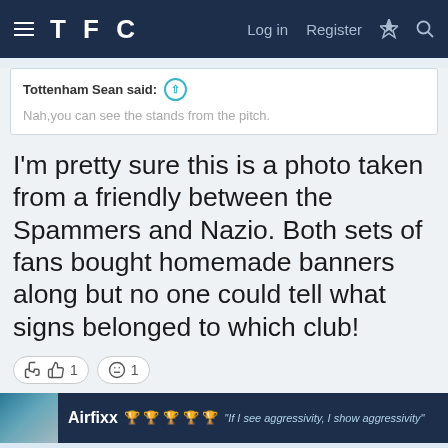TFC — Log in | Register
Tottenham Sean said: ↑
Nah,you can see the stands from the pitch.
I'm pretty sure this is a photo taken from a friendly between the Spammers and Nazio. Both sets of fans bought homemade banners along but no one could tell what signs belonged to which club!
👍 1   😐 1
Airfixx 🏆🏆🏆🏆🏆 "If I see aggressivity, I show aggressivity"
This site uses cookies to help personalise content, tailor your experience and to keep you logged in if you register.
By continuing to use this site, you are consenting to our use of cookies.
✓ ACCEPT   LEARN MORE...